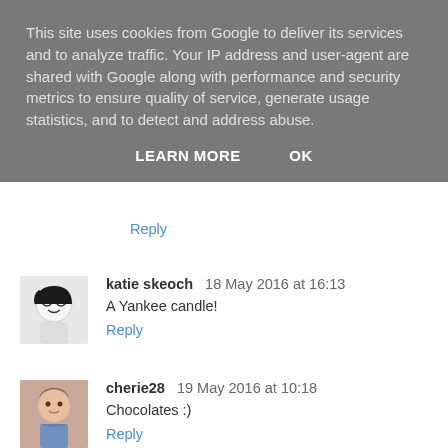This site uses cookies from Google to deliver its services and to analyze traffic. Your IP address and user-agent are shared with Google along with performance and security metrics to ensure quality of service, generate usage statistics, and to detect and address abuse.
LEARN MORE    OK
Reply
katie skeoch   18 May 2016 at 16:13
A Yankee candle!
Reply
cherie28   19 May 2016 at 10:18
Chocolates :)
Reply